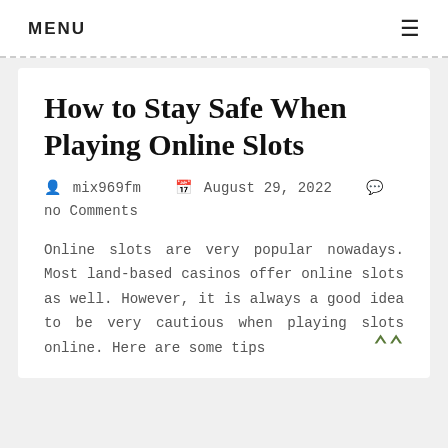MENU
How to Stay Safe When Playing Online Slots
mix969fm   August 29, 2022   no Comments
Online slots are very popular nowadays. Most land-based casinos offer online slots as well. However, it is always a good idea to be very cautious when playing slots online. Here are some tips